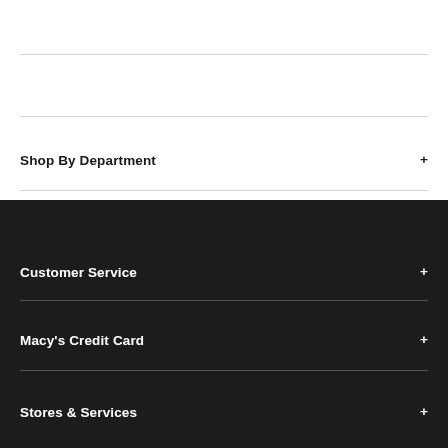Shop By Department
Customer Service
Macy's Credit Card
Stores & Services